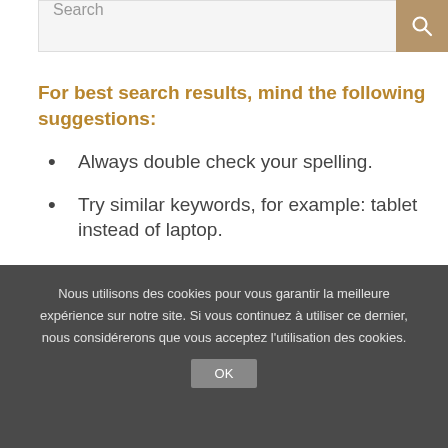Search
For best search results, mind the following suggestions:
Always double check your spelling.
Try similar keywords, for example: tablet instead of laptop.
Try using more than one keyword.
Nous utilisons des cookies pour vous garantir la meilleure expérience sur notre site. Si vous continuez à utiliser ce dernier, nous considérerons que vous acceptez l'utilisation des cookies.